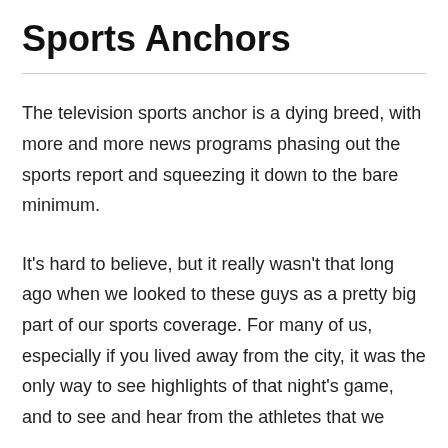Sports Anchors
The television sports anchor is a dying breed, with more and more news programs phasing out the sports report and squeezing it down to the bare minimum.
It's hard to believe, but it really wasn't that long ago when we looked to these guys as a pretty big part of our sports coverage. For many of us, especially if you lived away from the city, it was the only way to see highlights of that night's game, and to see and hear from the athletes that we